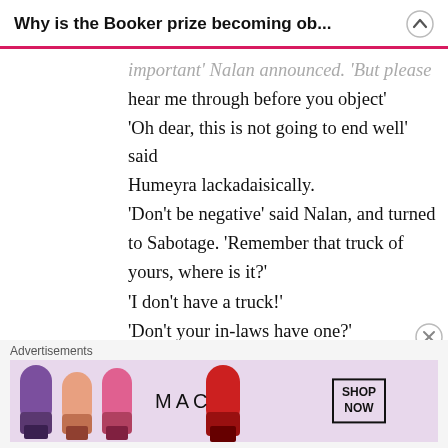Why is the Booker prize becoming ob...
important' Nalan announced. 'But please hear me through before you object' 'Oh dear, this is not going to end well' said Humeyra lackadaisically. 'Don't be negative' said Nalan, and turned to Sabotage. 'Remember that truck of yours, where is it?' 'I don't have a truck!' 'Don't your in-laws have one?' 'You mean my father-in-law's dusty Chevrolet? It's been ages since he last
Advertisements
[Figure (photo): MAC cosmetics advertisement banner showing lipsticks in purple, peach, and pink colors alongside MAC logo and SHOP NOW button]